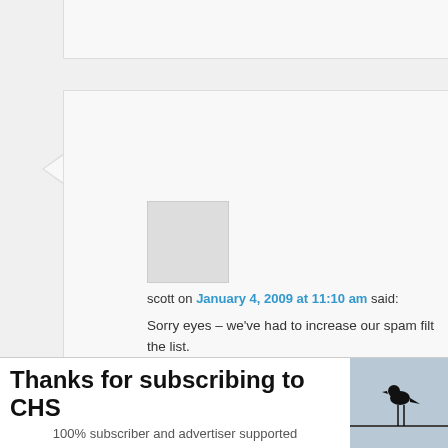scott on January 4, 2009 at 11:10 am said:
Sorry eyes – we've had to increase our spam filt the list.
FYI – Last week you left a comment that only sa spammy words in that, so that's how you ended And registered users will always be more trusted
Thanks for subscribing to CHS
100% subscriber and advertiser supported
[Figure (photo): Bird silhouette sitting on a wire against a grey-blue sky background]